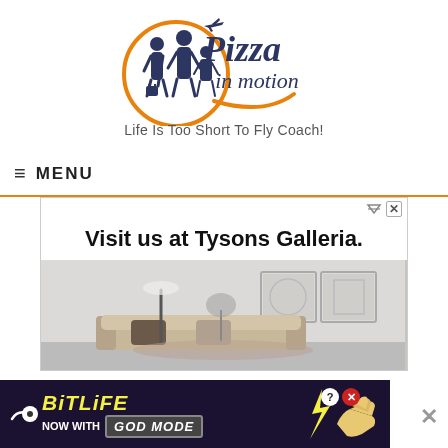[Figure (logo): Pizza in Motion logo with silhouette of family travelers inside an orange circle, airplane above, stylized cursive 'Pizza in motion' text, and tagline 'Life Is Too Short To Fly Coach!']
≡ MENU
[Figure (screenshot): Advertisement banner: 'Visit us at Tysons Galleria.' with image of a living room interior with sofa and wall art]
[Figure (screenshot): BitLife 'NOW WITH GOD MODE' mobile game advertisement banner at the bottom of the screen with a thumbs up hand illustration and X close button]